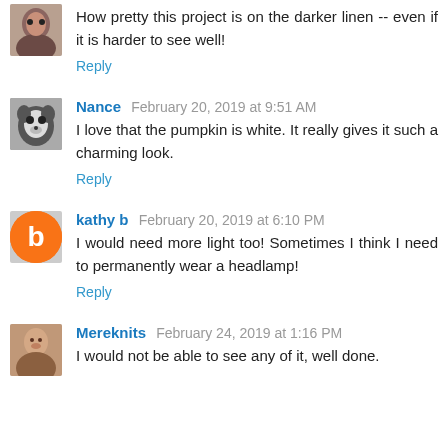How pretty this project is on the darker linen -- even if it is harder to see well!
Reply
Nance  February 20, 2019 at 9:51 AM
I love that the pumpkin is white. It really gives it such a charming look.
Reply
kathy b  February 20, 2019 at 6:10 PM
I would need more light too! Sometimes I think I need to permanently wear a headlamp!
Reply
Mereknits  February 24, 2019 at 1:16 PM
I would not be able to see any of it, well done.